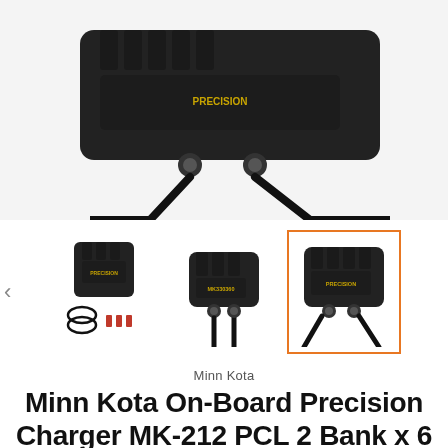[Figure (photo): Close-up top view of a black Minn Kota On-Board Precision Charger MK-212 PCL showing two black cables plugged into connector ports on the dark plastic housing.]
[Figure (photo): Three product thumbnails: first shows a charger unit with cables and connectors, second shows a single bank charger, third (highlighted with orange border) shows the MK-212 PCL two-bank charger with two cables.]
Minn Kota
Minn Kota On-Board Precision Charger MK-212 PCL 2 Bank x 6 AMP LI Optimized Charger